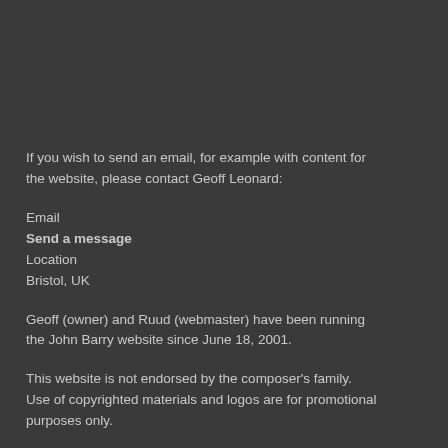If you wish to send an email, for example with content for the website, please contact Geoff Leonard:
Email
Send a message
Location
Bristol, UK
Geoff (owner) and Ruud (webmaster) have been running the John Barry website since June 18, 2001.
This website is not endorsed by the composer's family. Use of copyrighted materials and logos are for promotional purposes only.